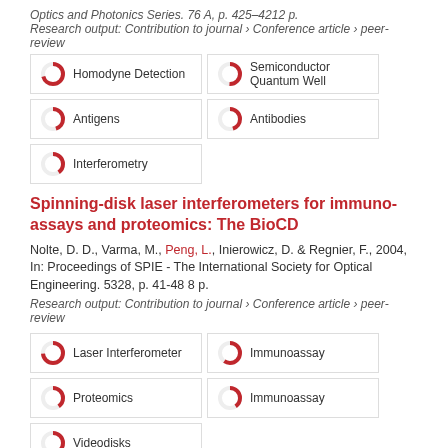Optics and Photonics Series. 76 A, p. 425–4212 p.
Research output: Contribution to journal › Conference article › peer-review
[Figure (infographic): Five keyword badges with donut-chart fill indicators: Homodyne Detection (~100%), Semiconductor Quantum Well (~75%), Antigens (~70%), Antibodies (~70%), Interferometry (~65%)]
Spinning-disk laser interferometers for immuno-assays and proteomics: The BioCD
Nolte, D. D., Varma, M., Peng, L., Inierowicz, D. & Regnier, F., 2004, In: Proceedings of SPIE - The International Society for Optical Engineering. 5328, p. 41-48 8 p.
Research output: Contribution to journal › Conference article › peer-review
[Figure (infographic): Five keyword badges with donut-chart fill indicators: Laser Interferometer (~100%), Immunoassay (~85%), Proteomics (~65%), Immunoassay (~65%), Videodisks (~65%)]